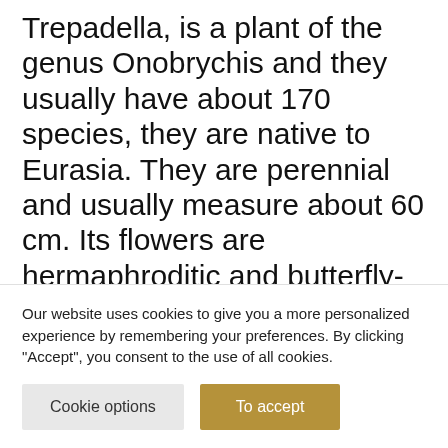Trepadella, is a plant of the genus Onobrychis and they usually have about 170 species, they are native to Eurasia. They are perennial and usually measure about 60 cm. Its flowers are hermaphroditic and butterfly-shaped, and the small petals are pink or white with small stripes. We think about it because in the Terra Alta it is usually seen on the small slopes, it is resistant to dry land and very common in calcareous areas like ours.
Our website uses cookies to give you a more personalized experience by remembering your preferences. By clicking "Accept", you consent to the use of all cookies.